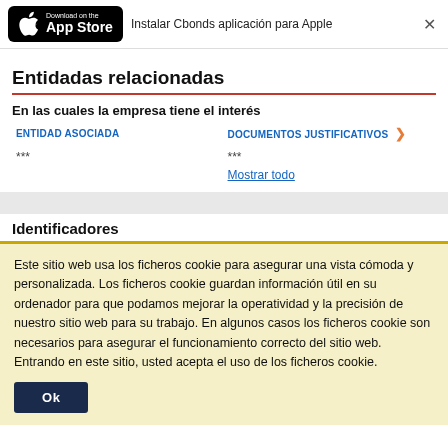[Figure (logo): Download on the App Store badge (black rounded rectangle with Apple logo and text 'Download on the App Store')]
Instalar Cbonds aplicación para Apple
Entidadas relacionadas
En las cuales la empresa tiene el interés
| ENTIDAD ASOCIADA | DOCUMENTOS JUSTIFICATIVOS |
| --- | --- |
| *** | ***
Mostrar todo |
Identificadores
Este sitio web usa los ficheros cookie para asegurar una vista cómoda y personalizada. Los ficheros cookie guardan información útil en su ordenador para que podamos mejorar la operatividad y la precisión de nuestro sitio web para su trabajo. En algunos casos los ficheros cookie son necesarios para asegurar el funcionamiento correcto del sitio web. Entrando en este sitio, usted acepta el uso de los ficheros cookie.
Ok